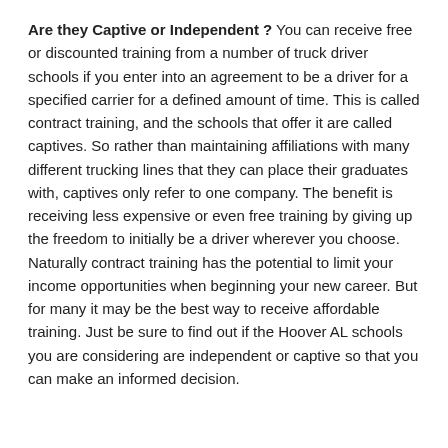Are they Captive or Independent ? You can receive free or discounted training from a number of truck driver schools if you enter into an agreement to be a driver for a specified carrier for a defined amount of time. This is called contract training, and the schools that offer it are called captives. So rather than maintaining affiliations with many different trucking lines that they can place their graduates with, captives only refer to one company. The benefit is receiving less expensive or even free training by giving up the freedom to initially be a driver wherever you choose. Naturally contract training has the potential to limit your income opportunities when beginning your new career. But for many it may be the best way to receive affordable training. Just be sure to find out if the Hoover AL schools you are considering are independent or captive so that you can make an informed decision.